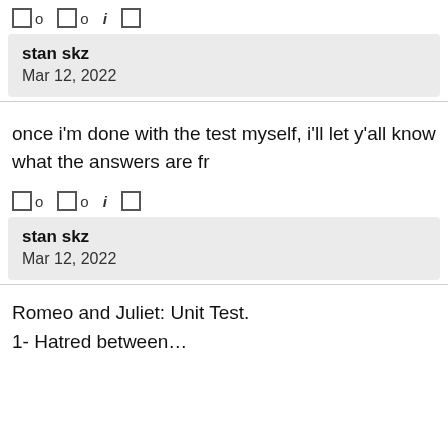□ 0  □ 0  i  □
stan skz
Mar 12, 2022
once i'm done with the test myself, i'll let y'all know what the answers are fr
□ 0  □ 0  i  □
stan skz
Mar 12, 2022
Romeo and Juliet: Unit Test.
1- Hatred between…